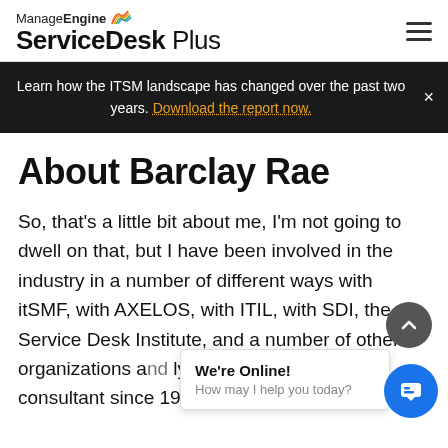ManageEngine ServiceDesk Plus
Learn how the ITSM landscape has changed over the past two years. Download the report now.
About Barclay Rae
So, that's a little bit about me, I'm not going to dwell on that, but I have been involved in the industry in a number of different ways with itSMF, with AXELOS, with ITIL, with SDI, the Service Desk Institute, and a number of other organizations and... ly though, really, as a consultant since 1994, so
We're Online!
How may I help you today?